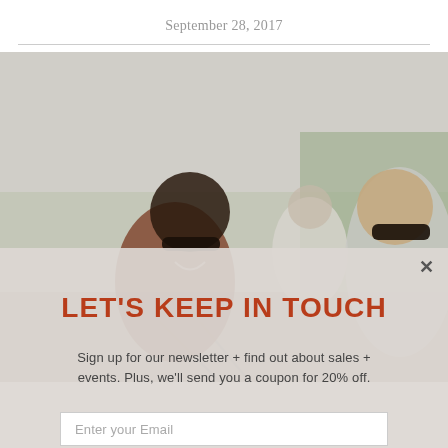September 28, 2017
[Figure (photo): Two women laughing outdoors wearing sunglasses, one with curly hair in a red jacket and one with a braid in a gray top, with trees in the background.]
LET'S KEEP IN TOUCH
Sign up for our newsletter + find out about sales + events. Plus, we'll send you a coupon for 20% off.
Enter your Email